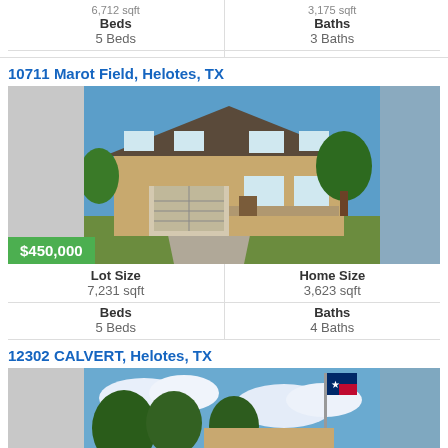| Beds | Baths |
| --- | --- |
| 5 Beds | 3 Baths |
10711 Marot Field, Helotes, TX
[Figure (photo): Exterior photo of a two-story brick home with two-car garage, green lawn, and $450,000 price badge]
| Lot Size | Home Size |
| --- | --- |
| 7,231 sqft | 3,623 sqft |
| 5 Beds | 4 Baths |
12302 CALVERT, Helotes, TX
[Figure (photo): Exterior photo of a home partially visible with large trees and a Texas flag on a pole]